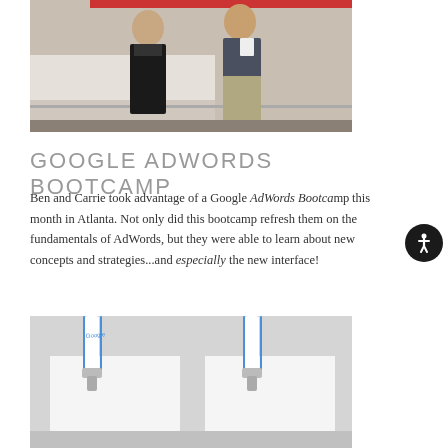[Figure (photo): Two people standing in front of a reception counter or desk area]
GOOGLE ADWORDS BOOTCAMP
Ben and Carrie took advantage of a Google AdWords Bootcamp this month in Atlanta. Not only did this bootcamp refresh them on the fundamentals of AdWords, but they were able to learn about new concepts and strategies...and especially the new interface!
[Figure (photo): Close-up of Google branded lanyards with name badge clips]